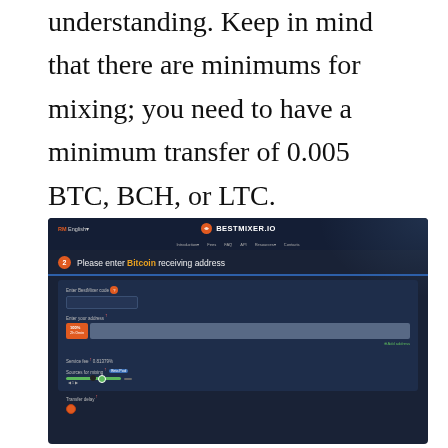understanding. Keep in mind that there are minimums for mixing; you need to have a minimum transfer of 0.005 BTC, BCH, or LTC.
[Figure (screenshot): Screenshot of BestMixer.io website showing step 2: Please enter Bitcoin receiving address. The form shows fields for BestMixer code, address entry with 100% allocation badge, service fee of 0.01379%, sources for mixing with Beta Pool option and slider, and transfer delay field.]